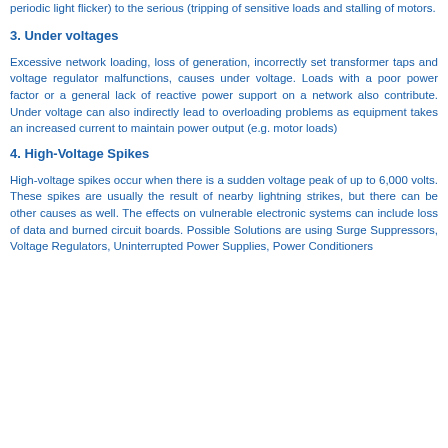periodic light flicker) to the serious (tripping of sensitive loads and stalling of motors.
3. Under voltages
Excessive network loading, loss of generation, incorrectly set transformer taps and voltage regulator malfunctions, causes under voltage. Loads with a poor power factor or a general lack of reactive power support on a network also contribute. Under voltage can also indirectly lead to overloading problems as equipment takes an increased current to maintain power output (e.g. motor loads)
4. High-Voltage Spikes
High-voltage spikes occur when there is a sudden voltage peak of up to 6,000 volts. These spikes are usually the result of nearby lightning strikes, but there can be other causes as well. The effects on vulnerable electronic systems can include loss of data and burned circuit boards. Possible Solutions are using Surge Suppressors, Voltage Regulators, Uninterrupted Power Supplies, Power Conditioners